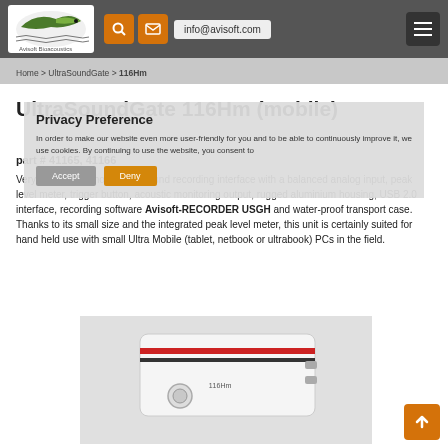info@avisoft.com
Home > UltraSoundGate > 116Hm
UltraSoundGate 116Hm (mobile)
part # 41165, 41166
Very small sized mobile ultrasound recording interface with a balanced analog input, peak level meter, trigger button, acoustic monitoring output, rugged aluminium housing, USB 2.0 interface, recording software Avisoft-RECORDER USGH and water-proof transport case. Thanks to its small size and the integrated peak level meter, this unit is certainly suited for hand held use with small Ultra Mobile (tablet, netbook or ultrabook) PCs in the field.
Privacy Preference
In order to make our website even more user-friendly for you and to be able to continuously improve it, we use cookies. By continuing to use the website, you consent to
Accept   Deny
[Figure (photo): Photo of the UltraSoundGate 116Hm mobile ultrasound recording device, showing a small white rectangular hardware unit with red/black stripe markings and a button on top.]